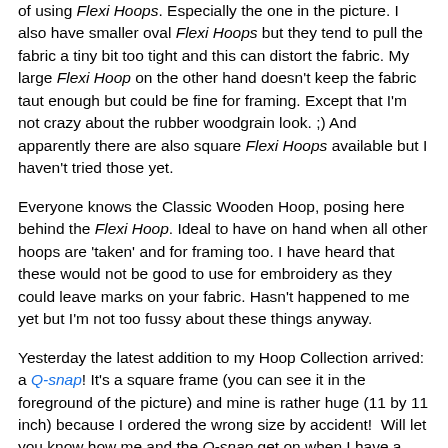of using Flexi Hoops. Especially the one in the picture. I also have smaller oval Flexi Hoops but they tend to pull the fabric a tiny bit too tight and this can distort the fabric. My large Flexi Hoop on the other hand doesn't keep the fabric taut enough but could be fine for framing. Except that I'm not crazy about the rubber woodgrain look. ;) And apparently there are also square Flexi Hoops available but I haven't tried those yet.
Everyone knows the Classic Wooden Hoop, posing here behind the Flexi Hoop. Ideal to have on hand when all other hoops are 'taken' and for framing too. I have heard that these would not be good to use for embroidery as they could leave marks on your fabric. Hasn't happened to me yet but I'm not too fussy about these things anyway.
Yesterday the latest addition to my Hoop Collection arrived: a Q-snap! It's a square frame (you can see it in the foreground of the picture) and mine is rather huge (11 by 11 inch) because I ordered the wrong size by accident!  Will let you know how me and the Q-snap get on when I have a chance to try it out. Do let me know if you have any tips for using this